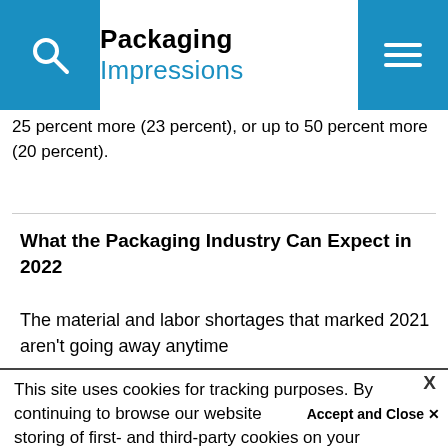Packaging Impressions
25 percent more (23 percent), or up to 50 percent more (20 percent).
What the Packaging Industry Can Expect in 2022
The material and labor shortages that marked 2021 aren't going away anytime
This site uses cookies for tracking purposes. By continuing to browse our website, you agree to the storing of first- and third-party cookies on your device to enhance site navigation, analyze site usage, and assist in our marketing and
Your browser settings do not allow cross-site tracking for advertising. Click on this page to allow AdRoll to use cross-site tracking to tailor ads to you. Learn more or opt out of this AdRoll tracking by clicking here. This message only appears once.